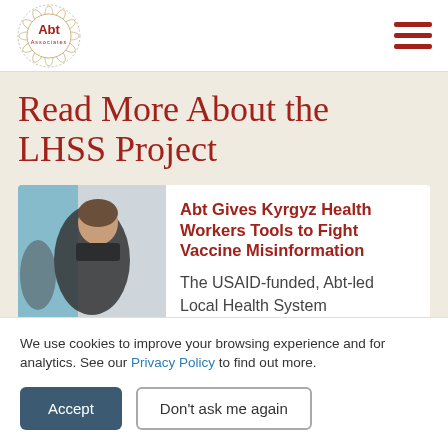Abt Associates logo and navigation
Read More About the LHSS Project
[Figure (photo): A woman speaking or presenting, dark clothing, blurred background]
Abt Gives Kyrgyz Health Workers Tools to Fight Vaccine Misinformation
The USAID-funded, Abt-led Local Health System Sustainability Project gave
We use cookies to improve your browsing experience and for analytics. See our Privacy Policy to find out more.
Accept
Don't ask me again